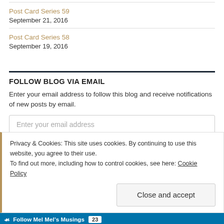Post Card Series 59
September 21, 2016
Post Card Series 58
September 19, 2016
FOLLOW BLOG VIA EMAIL
Enter your email address to follow this blog and receive notifications of new posts by email.
Enter your email address
Privacy & Cookies: This site uses cookies. By continuing to use this website, you agree to their use.
To find out more, including how to control cookies, see here: Cookie Policy
Close and accept
Follow Mel Mel's Musings  23